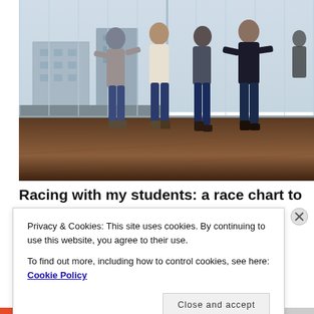[Figure (photo): Four men in a large room with wooden floors and floor-to-ceiling windows. They appear to be engaged in a playful activity, possibly a race or game, with arms around each other. The room has a view of city buildings outside.]
Racing with my students: a race chart to
Privacy & Cookies: This site uses cookies. By continuing to use this website, you agree to their use.
To find out more, including how to control cookies, see here: Cookie Policy
Close and accept